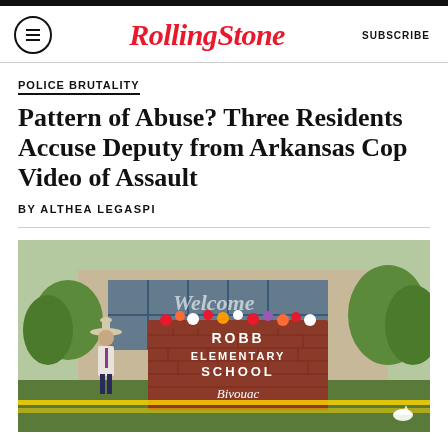RollingStone | SUBSCRIBE
POLICE BRUTALITY
Pattern of Abuse? Three Residents Accuse Deputy from Arkansas Cop Video of Assault
BY ALTHEA LEGASPI
[Figure (photo): Photo of Robb Elementary School sign with flowers on top and a man in a cowboy hat standing nearby, yellow police tape visible]